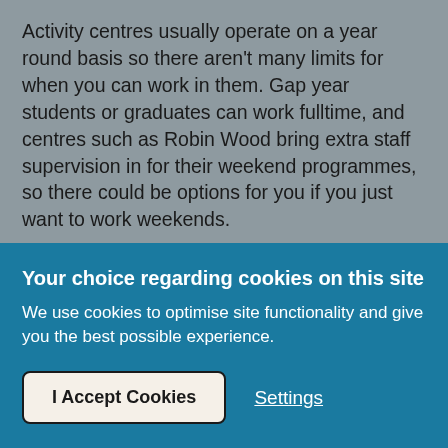Activity centres usually operate on a year round basis so there aren't many limits for when you can work in them. Gap year students or graduates can work fulltime, and centres such as Robin Wood bring extra staff supervision in for their weekend programmes, so there could be options for you if you just want to work weekends.
If it's purely seasonal work you are looking for, many activity centres run various programmes throughout the summer and recruit extra seasonal staff to cover
Your choice regarding cookies on this site
We use cookies to optimise site functionality and give you the best possible experience.